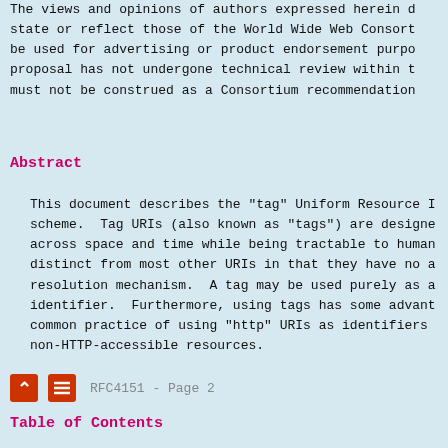The views and opinions of authors expressed herein do not necessarily state or reflect those of the World Wide Web Consortium, and may not be used for advertising or product endorsement purposes. This W3C proposal has not undergone technical review within the Consortium and must not be construed as a Consortium recommendation.
Abstract
This document describes the "tag" Uniform Resource Identifier (URI) scheme. Tag URIs (also known as "tags") are designed to be unique across space and time while being tractable to humans. They are distinct from most other URIs in that they have no associated resolution mechanism. A tag may be used purely as an entity identifier. Furthermore, using tags has some advantages over the common practice of using "http" URIs as identifiers for non-HTTP-accessible resources.
RFC4151 - Page 2
Table of Contents